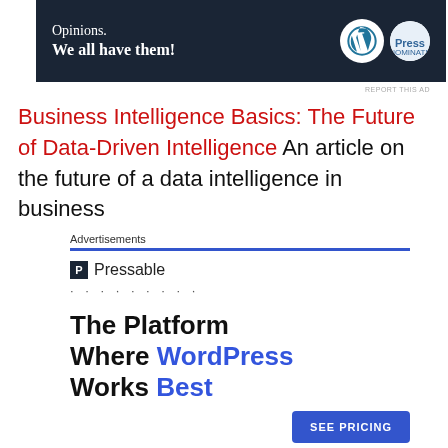[Figure (illustration): Top banner advertisement with dark navy background. Text reads 'Opinions. We all have them!' with WordPress W logo and a second circular logo on the right.]
REPORT THIS AD
Business Intelligence Basics: The Future of Data-Driven Intelligence An article on the future of a data intelligence in business
[Figure (illustration): Pressable advertisement block. Shows 'Advertisements' label with blue underline, Pressable logo and name, dots, headline 'The Platform Where WordPress Works Best', and a 'SEE PRICING' button.]